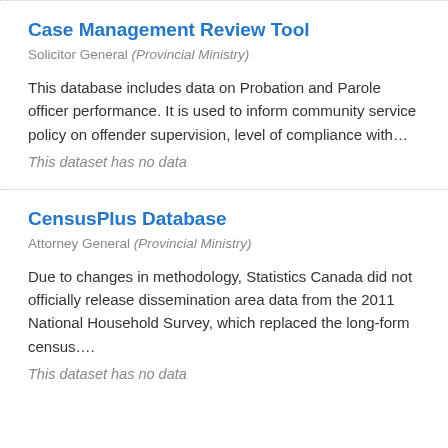Case Management Review Tool
Solicitor General (Provincial Ministry)
This database includes data on Probation and Parole officer performance. It is used to inform community service policy on offender supervision, level of compliance with…
This dataset has no data
CensusPlus Database
Attorney General (Provincial Ministry)
Due to changes in methodology, Statistics Canada did not officially release dissemination area data from the 2011 National Household Survey, which replaced the long-form census….
This dataset has no data